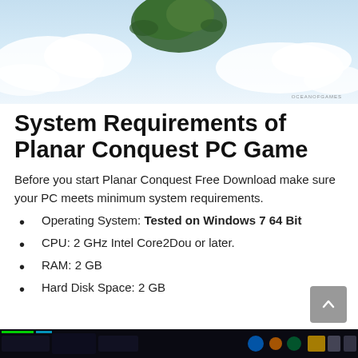[Figure (screenshot): Top banner image showing a stylized aerial/island view with clouds and blue sky background, with a watermark text 'OCEANOFGAMES' at bottom right]
System Requirements of Planar Conquest PC Game
Before you start Planar Conquest Free Download make sure your PC meets minimum system requirements.
Operating System: Tested on Windows 7 64 Bit
CPU: 2 GHz Intel Core2Dou or later.
RAM: 2 GB
Hard Disk Space: 2 GB
[Figure (screenshot): Bottom strip showing a dark game UI/screenshot bar at the bottom of the page]